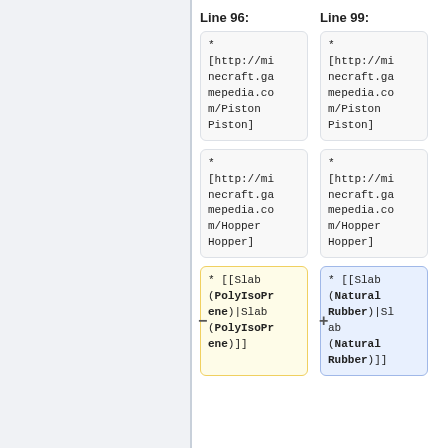Line 96:
Line 99:
* [http://minecraft.gamepedia.com/Piston Piston]
* [http://minecraft.gamepedia.com/Piston Piston]
* [http://minecraft.gamepedia.com/Hopper Hopper]
* [http://minecraft.gamepedia.com/Hopper Hopper]
* [[Slab (PolyIsoPrene)|Slab (PolyIsoPrene)]]
* [[Slab (Natural Rubber)|Slab (Natural Rubber)]]